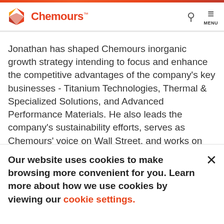Chemours
Jonathan has shaped Chemours inorganic growth strategy intending to focus and enhance the competitive advantages of the company’s key businesses - Titanium Technologies, Thermal & Specialized Solutions, and Advanced Performance Materials. He also leads the company’s sustainability efforts, serves as Chemours’ voice on Wall Street, and works on protecting the company against enterprise risks.
Our website uses cookies to make browsing more convenient for you. Learn more about how we use cookies by viewing our cookie settings.